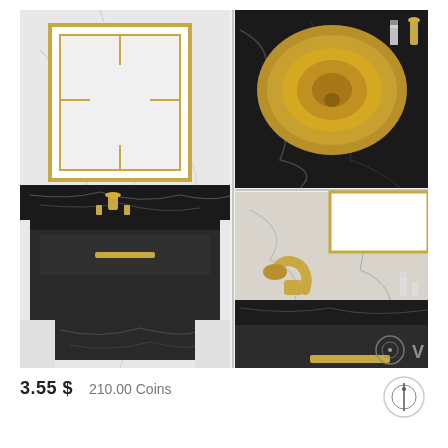[Figure (photo): 3D render of a luxury bathroom vanity set with black and white marble walls, dark cabinet with gold handles, gold faucet, gold bowl sink, and framed mirror with gold trim. Shown from multiple angles: full vanity on left, close-up of gold bowl sink top-right, close-up of gold faucet bottom-right. Software render badges (V-Ray/3ds Max) in bottom-right corner.]
3.55 $   210.00 Coins